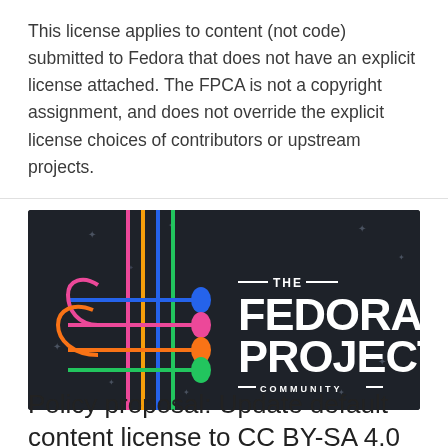This license applies to content (not code) submitted to Fedora that does not have an explicit license attached. The FPCA is not a copyright assignment, and does not override the explicit license choices of contributors or upstream projects.
[Figure (logo): The Fedora Project Community logo on dark background with colorful cable/wire graphic on the left side]
Policy proposal: Update default content license to CC BY-SA 4.0